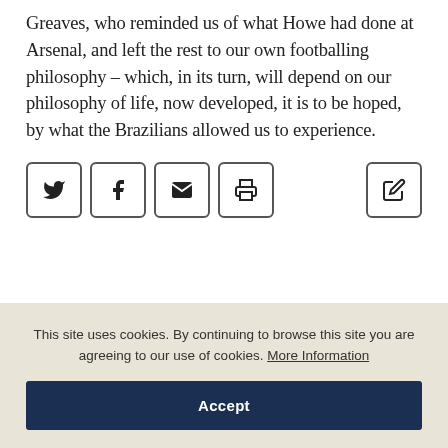Greaves, who reminded us of what Howe had done at Arsenal, and left the rest to our own footballing philosophy – which, in its turn, will depend on our philosophy of life, now developed, it is to be hoped, by what the Brazilians allowed us to experience.
[Figure (infographic): Social share buttons row: Twitter bird icon, Facebook f icon, Email envelope icon, Print printer icon, and an Edit/pencil icon on the far right — all in rounded square outlines.]
This site uses cookies. By continuing to browse this site you are agreeing to our use of cookies. More Information
Accept